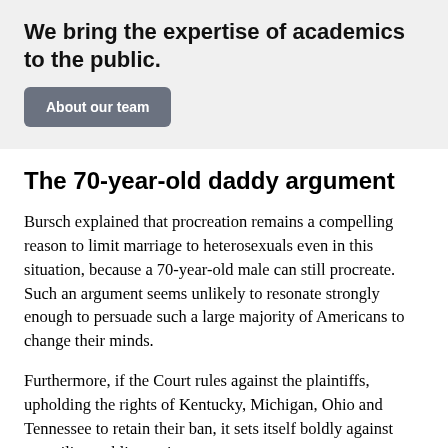We bring the expertise of academics to the public.
About our team
The 70-year-old daddy argument
Bursch explained that procreation remains a compelling reason to limit marriage to heterosexuals even in this situation, because a 70-year-old male can still procreate. Such an argument seems unlikely to resonate strongly enough to persuade such a large majority of Americans to change their minds.
Furthermore, if the Court rules against the plaintiffs, upholding the rights of Kentucky, Michigan, Ohio and Tennessee to retain their ban, it sets itself boldly against prevailing public sentiment.